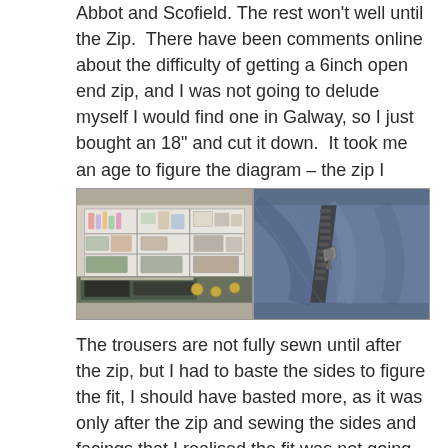Abbot and Scofield.  The rest won't well until the Zip.  There have been comments online about the difficulty of getting a 6inch open end zip, and I was not going to delude myself I would find one in Galway, so I just bought an 18" and cut it down.  It took me an age to figure the diagram – the zip I understood but the sewing of the tabs I was not so sure of (now that they are done, I cannot remember what the confusion was!)
[Figure (photo): Left photo: a sewing workspace with a cutting mat, rulers, and craft supplies on shelves in background. Right photo: close-up of dark blue/denim fabric with a black zipper installed.]
The trousers are not fully sewn until after the zip, but I had to baste the sides to figure the fit, I should have basted more, as it was only after the zip and sewing the sides and facings that I realised the fit was not going to work.   So they were put aside for the day.